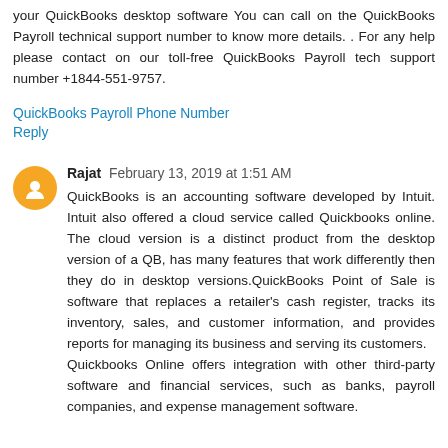your QuickBooks desktop software You can call on the QuickBooks Payroll technical support number to know more details. . For any help please contact on our toll-free QuickBooks Payroll tech support number +1844-551-9757.
QuickBooks Payroll Phone Number
Reply
Rajat  February 13, 2019 at 1:51 AM
QuickBooks is an accounting software developed by Intuit. Intuit also offered a cloud service called Quickbooks online. The cloud version is a distinct product from the desktop version of a QB, has many features that work differently then they do in desktop versions.QuickBooks Point of Sale is software that replaces a retailer's cash register, tracks its inventory, sales, and customer information, and provides reports for managing its business and serving its customers.
Quickbooks Online offers integration with other third-party software and financial services, such as banks, payroll companies, and expense management software.